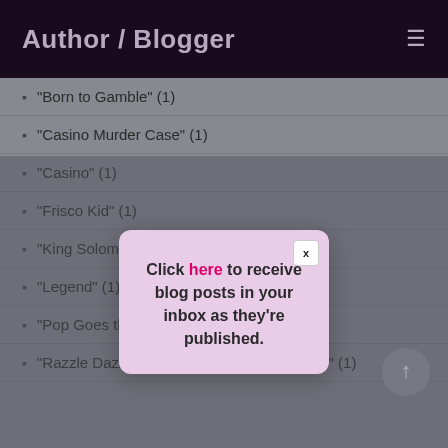Author / Blogger
"Born to Gamble" (1)
"Casino Murder Case" (1)
"Casino" (1)
"Frisco Kid" (1)
"King Solomon o...
"Legend" (1)
"Pop Goes the Weasel (Lady Cocoa)" (1)
"Razzle Dazzle: The Elaine Townsend Story" (1)
[Figure (screenshot): Modal popup with close button X and text: Click here to receive blog posts in your inbox as they're published.]